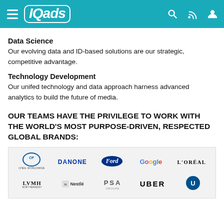IQads
Data Science
Our evolving data and ID-based solutions are our strategic, competitive advantage.
Technology Development
Our unifed technology and data approach harness advanced analytics to build the future of media.
OUR TEAMS HAVE THE PRIVILEGE TO WORK WITH THE WORLD'S MOST PURPOSE-DRIVEN, RESPECTED GLOBAL BRANDS:
[Figure (logo): Grid of brand logos: Cheil Worldwide, Danone, Ford, Google, L'Oreal, LVMH, Nestle, PSA, Uber, Unilever]